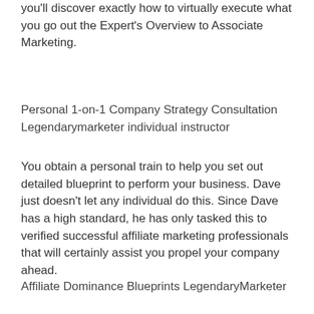you'll discover exactly how to virtually execute what you go out the Expert's Overview to Associate Marketing.
Personal 1-on-1 Company Strategy Consultation Legendarymarketer individual instructor
You obtain a personal train to help you set out detailed blueprint to perform your business. Dave just doesn't let any individual do this. Since Dave has a high standard, he has only tasked this to verified successful affiliate marketing professionals that will certainly assist you propel your company ahead.
Affiliate Dominance Blueprints LegendaryMarketer